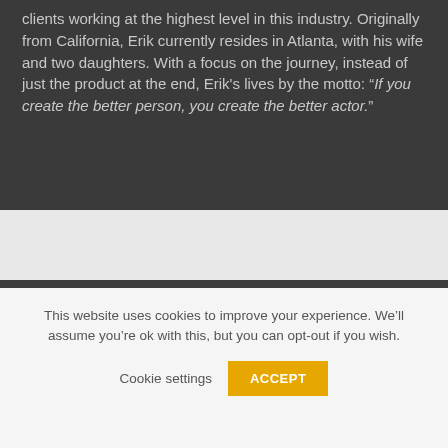clients working at the highest level in this industry. Originally from California, Erik currently resides in Atlanta, with his wife and two daughters. With a focus on the journey, instead of just the product at the end, Erik's lives by the motto: "If you create the better person, you create the better actor."
[Figure (photo): Partial photo of a person with brown hair against a light background, cropped at the top portion of the face/head]
This website uses cookies to improve your experience. We'll assume you're ok with this, but you can opt-out if you wish.
Cookie settings   ACCEPT